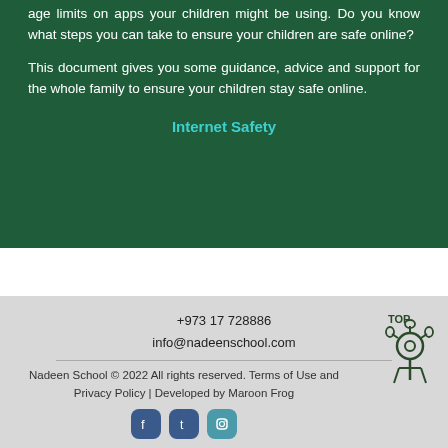age limits on apps your children might be using. Do you know what steps you can take to ensure your children are safe online?
This document gives you some guidance, advice and support for the whole family to ensure your children stay safe online.
Internet Safety
+973 17 728886
info@nadeenschool.com
Nadeen School © 2022 All rights reserved. Terms of Use and Privacy Policy | Developed by Maroon Frog